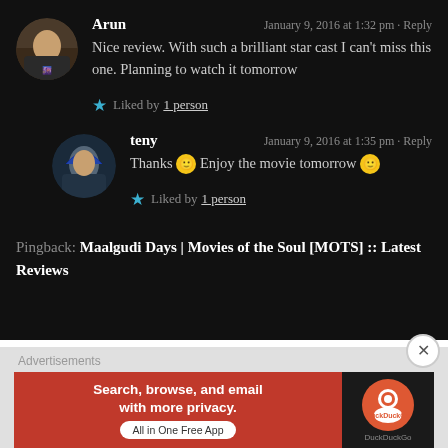Arun — January 9, 2016 at 1:32 pm · Reply
Nice review. With such a brilliant star cast I can't miss this one. Planning to watch it tomorrow
Liked by 1 person
teny — January 9, 2016 at 1:35 pm · Reply
Thanks 🙂 Enjoy the movie tomorrow 🙂
Liked by 1 person
Pingback: Maalgudi Days | Movies of the Soul [MOTS] :: Latest Reviews
Advertisements
[Figure (other): DuckDuckGo advertisement banner: red background with text 'Search, browse, and email with more privacy. All in One Free App' and DuckDuckGo logo on dark background]